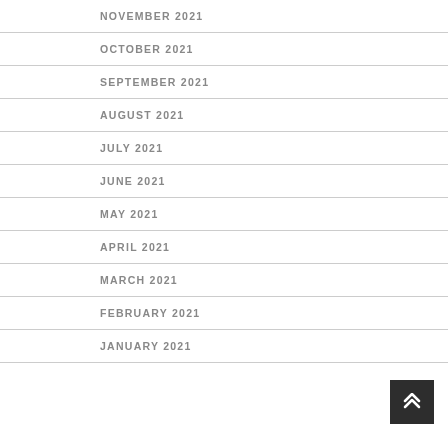NOVEMBER 2021
OCTOBER 2021
SEPTEMBER 2021
AUGUST 2021
JULY 2021
JUNE 2021
MAY 2021
APRIL 2021
MARCH 2021
FEBRUARY 2021
JANUARY 2021